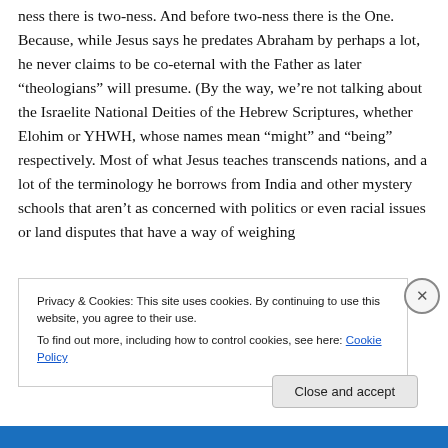ness there is two-ness. And before two-ness there is the One. Because, while Jesus says he predates Abraham by perhaps a lot, he never claims to be co-eternal with the Father as later “theologians” will presume. (By the way, we’re not talking about the Israelite National Deities of the Hebrew Scriptures, whether Elohim or YHWH, whose names mean “might” and “being” respectively. Most of what Jesus teaches transcends nations, and a lot of the terminology he borrows from India and other mystery schools that aren’t as concerned with politics or even racial issues or land disputes that have a way of weighing
Privacy & Cookies: This site uses cookies. By continuing to use this website, you agree to their use.
To find out more, including how to control cookies, see here: Cookie Policy
Close and accept